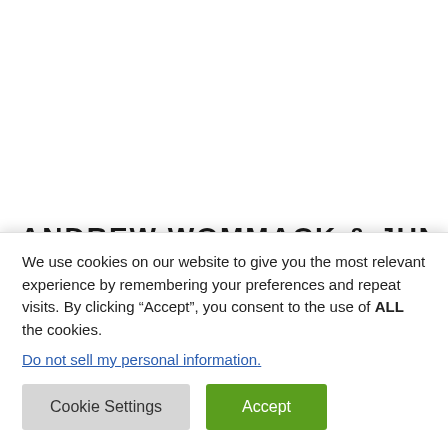ANDREW WOMMACK & JUNE
We use cookies on our website to give you the most relevant experience by remembering your preferences and repeat visits. By clicking “Accept”, you consent to the use of ALL the cookies.
Do not sell my personal information.
Cookie Settings   Accept